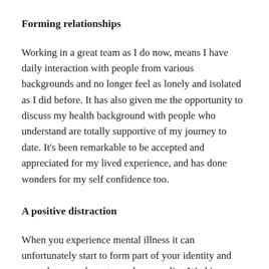Forming relationships
Working in a great team as I do now, means I have daily interaction with people from various backgrounds and no longer feel as lonely and isolated as I did before. It has also given me the opportunity to discuss my health background with people who understand are totally supportive of my journey to date. It’s been remarkable to be accepted and appreciated for my lived experience, and has done wonders for my self confidence too.
A positive distraction
When you experience mental illness it can unfortunately start to form part of your identity and overtake your character and personality. Working again has shown me I am far more than just my diagnosis; I have skills, I can